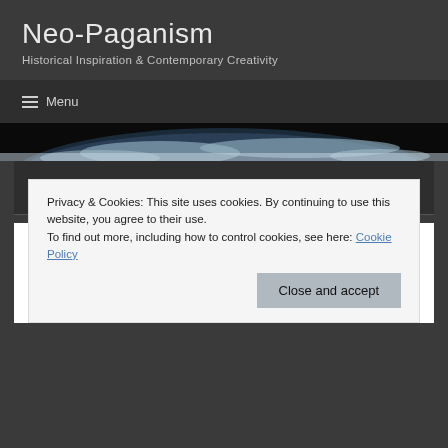Neo-Paganism
Historical Inspiration & Contemporary Creativity
≡  Menu
[Figure (photo): Partial view of Earth from space showing clouds and atmosphere, used as a decorative header strip]
The Three “Centers” of Paganism
Self-
Centric
Privacy & Cookies: This site uses cookies. By continuing to use this website, you agree to their use.
To find out more, including how to control cookies, see here: Cookie Policy
Close and accept